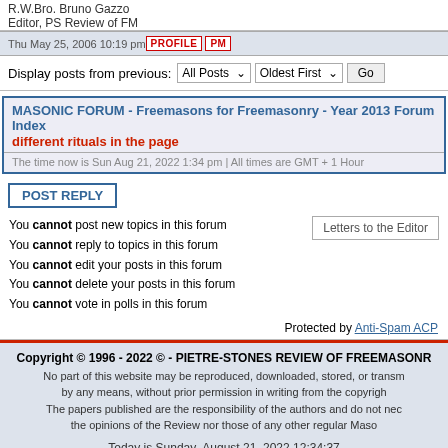R.W.Bro. Bruno Gazzo
Editor, PS Review of FM
Thu May 25, 2006 10:19 pm  PROFILE  PM
Display posts from previous: All Posts Oldest First Go
MASONIC FORUM - Freemasons for Freemasonry - Year 2013 Forum Index different rituals in the page
The time now is Sun Aug 21, 2022 1:34 pm | All times are GMT + 1 Hour
POST REPLY
You cannot post new topics in this forum
You cannot reply to topics in this forum
You cannot edit your posts in this forum
You cannot delete your posts in this forum
You cannot vote in polls in this forum
Letters to the Editor
Protected by Anti-Spam ACP
Copyright © 1996 - 2022 © - PIETRE-STONES REVIEW OF FREEMASONRY
No part of this website may be reproduced, downloaded, stored, or transmitted by any means, without prior permission in writing from the copyright holder.
The papers published are the responsibility of the authors and do not necessarily reflect the opinions of the Review nor those of any other regular Masonic body.
Today is Sunday August 21, 2022 12:34:37
Last modified on Sunday, August 21, 2022 12:34:37
Website optimized for Microsoft Explorer 6.0+. Best view with a screen resolution of 1024x768
6
visitors currently on the site.
295 visitors today (GMT+1)
Powered by phpBB © phpBB Group
Design by phpBBStyles.com | Styles Database